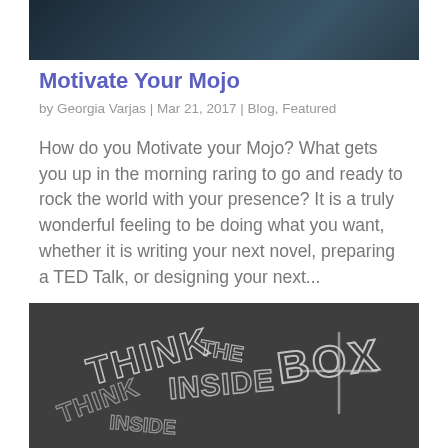[Figure (photo): Partial photo of a person at the top of the page, dark teal/blue background]
Motivate Your Mojo
by Georgia Varjas | Mar 21, 2017 | Blog, Featured
How do you Motivate your Mojo? What gets you up in the morning raring to go and ready to rock the world with your presence? It is a truly wonderful feeling to be doing what you want, whether it is writing your next novel, preparing a TED Talk, or designing your next...
[Figure (photo): Black and white photo of a chalkboard with chalk writing reading THINK INSIDE THE BOX]